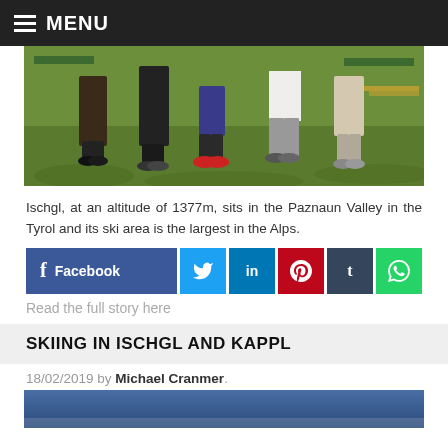MENU
[Figure (photo): Photo of people's legs standing on grass at an outdoor event]
Ischgl, at an altitude of 1377m, sits in the Paznaun Valley in the Tyrol and its ski area is the largest in the Alps.
[Figure (infographic): Social sharing buttons: Facebook, Twitter, LinkedIn, Pinterest, Tumblr, WhatsApp]
Read the full story here
SKIING IN ISCHGL AND KAPPL
18/02/2019 by Michael Cranmer.
[Figure (photo): Bottom portion of an outdoor winter/ski photo with blue sky]